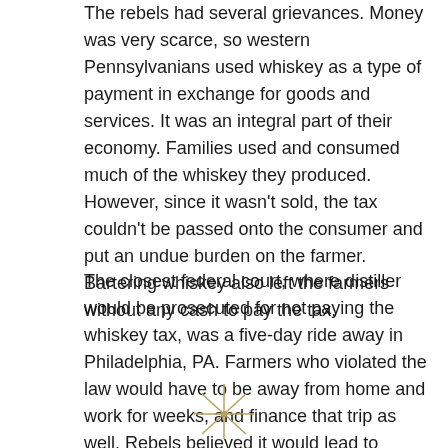The rebels had several grievances. Money was very scarce, so western Pennsylvanians used whiskey as a type of payment in exchange for goods and services. It was an integral part of their economy. Families used and consumed much of the whiskey they produced. However, since it wasn't sold, the tax couldn't be passed onto the consumer and put an undue burden on the farmer. Bartering whiskey also left the farmers without any cash to pay the tax.
The closest federal court, where distiller would be prosecuted for not paying the whiskey tax, was a five-day ride away in Philadelphia, PA. Farmers who violated the law would have to be away from home and work for weeks, and finance that trip as well. Rebels believed it would lead to certain ruin.
[Figure (illustration): A small decorative star or asterisk-like symbol at the bottom center of the page, partially cropped]